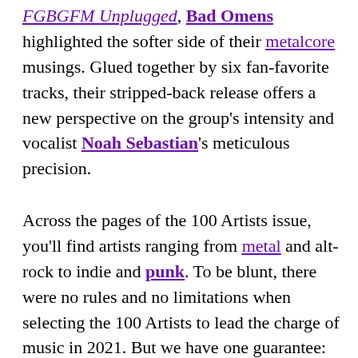FGBGFM Unplugged, Bad Omens highlighted the softer side of their metalcore musings. Glued together by six fan-favorite tracks, their stripped-back release offers a new perspective on the group's intensity and vocalist Noah Sebastian's meticulous precision.
Across the pages of the 100 Artists issue, you'll find artists ranging from metal and alt-rock to indie and punk. To be blunt, there were no rules and no limitations when selecting the 100 Artists to lead the charge of music in 2021. But we have one guarantee: There is something for everyone in our 100 Artists issue and some surprises that you'll certainly get hooked on.